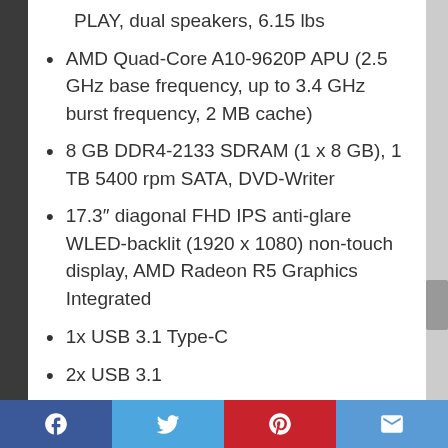PLAY, dual speakers, 6.15 lbs
AMD Quad-Core A10-9620P APU (2.5 GHz base frequency, up to 3.4 GHz burst frequency, 2 MB cache)
8 GB DDR4-2133 SDRAM (1 x 8 GB), 1 TB 5400 rpm SATA, DVD-Writer
17.3″ diagonal FHD IPS anti-glare WLED-backlit (1920 x 1080) non-touch display, AMD Radeon R5 Graphics Integrated
1x USB 3.1 Type-C
2x USB 3.1
1x HDMI
1x RJ-45